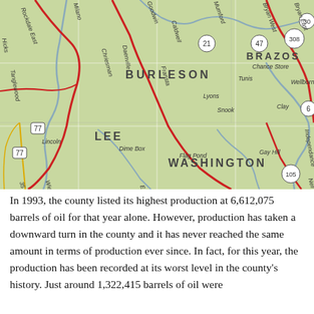[Figure (map): Road map showing counties in central Texas including Burleson, Lee, Washington, and Brazos counties, with highways marked (21, 47, 308, 30, 77, 36, 6, 105) and towns including Tunis, Snook, Clay, Lyons, Fransta, Caldwell, Chriesman, Daenville, Dime Box, Flag Pond, Somerville, Gay Hill, Independance, Wellborn, Mumford, Bryan West, Bryan East. Map has green background with red major roads, blue waterways, and white grid lines.]
In 1993, the county listed its highest production at 6,612,075 barrels of oil for that year alone. However, production has taken a downward turn in the county and it has never reached the same amount in terms of production ever since. In fact, for this year, the production has been recorded at its worst level in the county's history. Just around 1,322,415 barrels of oil were